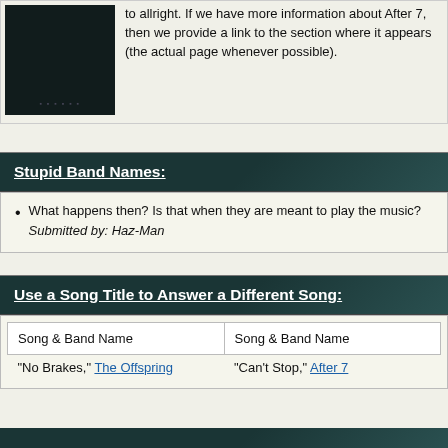[Figure (photo): Dark album cover or band photo with faint text overlay on a dark teal/black background]
to allright. If we have more information about After 7, then we provide a link to the section where it appears (the actual page whenever possible).
Stupid Band Names:
What happens then? Is that when they are meant to play the music? Submitted by: Haz-Man
Use a Song Title to Answer a Different Song:
| Song & Band Name | Song & Band Name |
| --- | --- |
| "No Brakes," The Offspring | "Can't Stop," After 7 |